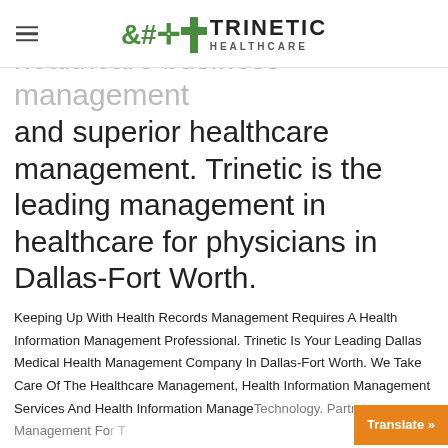Trinetic Healthcare
healthcare business management and superior healthcare management. Trinetic is the leading management in healthcare for physicians in Dallas-Fort Worth.
Keeping Up With Health Records Management Requires A Health Information Management Professional. Trinetic Is Your Leading Dallas Medical Health Management Company In Dallas-Fort Worth. We Take Care Of The Healthcare Management, Health Information Management Services And Health Information Management Technology. Partner Management For T…